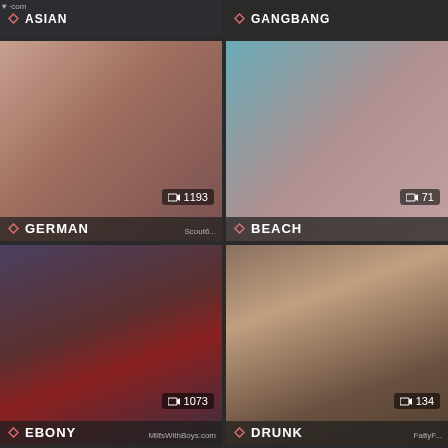[Figure (screenshot): Video thumbnail grid showing adult content category thumbnails with labels: ASIAN (top left, cropped), GANGBANG (top right, cropped), GERMAN with count 1193, BEACH with count 71, EBONY with count 1073, DRUNK with count 134, and two more partially visible thumbnails at bottom]
ASIAN
GANGBANG
GERMAN
1193
BEACH
71
EBONY
1073
MilfsWithBoys.com
DRUNK
134
FattyF...